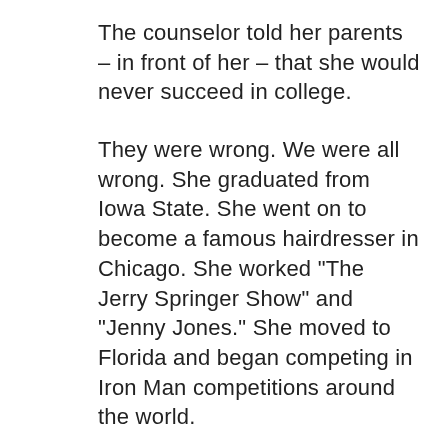The counselor told her parents – in front of her – that she would never succeed in college.
They were wrong. We were all wrong. She graduated from Iowa State. She went on to become a famous hairdresser in Chicago. She worked "The Jerry Springer Show" and "Jenny Jones." She moved to Florida and began competing in Iron Man competitions around the world.
She's married now and lives in California.
She told me a sweet story about her daughter coming home from second grade one recent day. The private, Christian school her daughter attended had a tradition. It used to be...